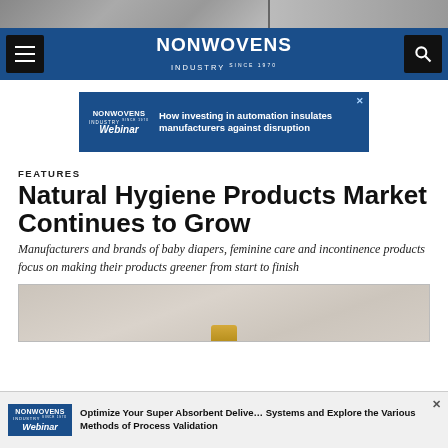[Figure (screenshot): Top cropped image strip showing partial photograph]
NONWOVENS INDUSTRY
[Figure (screenshot): Nonwovens Industry webinar ad banner: How investing in automation insulates manufacturers against disruption]
FEATURES
Natural Hygiene Products Market Continues to Grow
Manufacturers and brands of baby diapers, feminine care and incontinence products focus on making their products greener from start to finish
[Figure (photo): Partial photo of hygiene product container on light beige background]
[Figure (screenshot): Nonwovens Industry webinar bottom ad: Optimize Your Super Absorbent Delivery Systems and Explore the Various Methods of Process Validation]